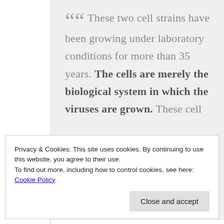These two cell strains have been growing under laboratory conditions for more than 35 years. The cells are merely the biological system in which the viruses are grown. These cell
Privacy & Cookies: This site uses cookies. By continuing to use this website, you agree to their use. To find out more, including how to control cookies, see here: Cookie Policy